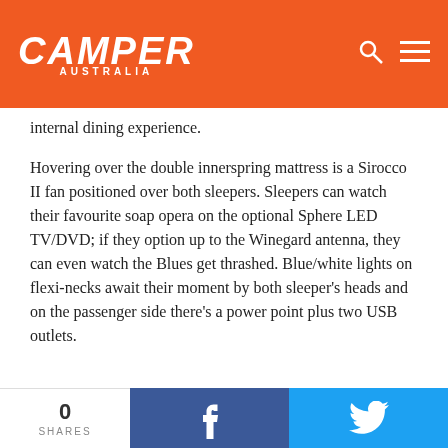CAMPER AUSTRALIA
internal dining experience.
Hovering over the double innerspring mattress is a Sirocco II fan positioned over both sleepers. Sleepers can watch their favourite soap opera on the optional Sphere LED TV/DVD; if they option up to the Winegard antenna, they can even watch the Blues get thrashed. Blue/white lights on flexi-necks await their moment by both sleeper's heads and on the passenger side there's a power point plus two USB outlets.
SHIRKING THE BLACKTOP
There's two 9kg gas bottles. Gas, tick. There's two 82L water tanks and two jerry can holders, making for a potential 200L of
0 SHARES